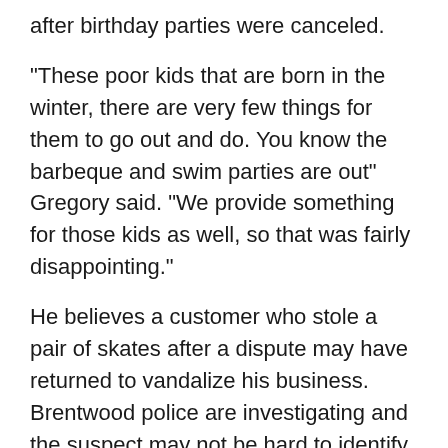after birthday parties were canceled.
"These poor kids that are born in the winter, there are very few things for them to go out and do. You know the barbeque and swim parties are out" Gregory said. "We provide something for those kids as well, so that was fairly disappointing."
He believes a customer who stole a pair of skates after a dispute may have returned to vandalize his business. Brentwood police are investigating and the suspect may not be hard to identify.
"People don't realize when they come here and do a crime, we have them sign a waiver first," Gregory said. "So they do these crimes after they sign the waiver and forget that they already gave us their full name."